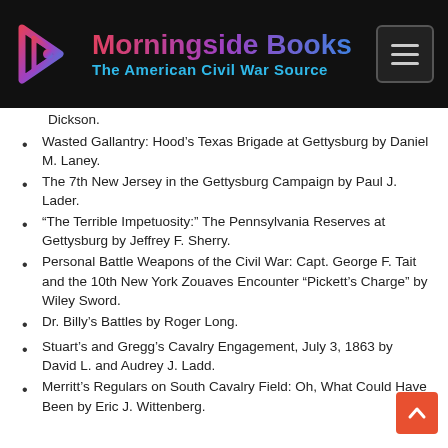Morningside Books — The American Civil War Source
Dickson.
Wasted Gallantry: Hood's Texas Brigade at Gettysburg by Daniel M. Laney.
The 7th New Jersey in the Gettysburg Campaign by Paul J. Lader.
“The Terrible Impetuosity:” The Pennsylvania Reserves at Gettysburg by Jeffrey F. Sherry.
Personal Battle Weapons of the Civil War: Capt. George F. Tait and the 10th New York Zouaves Encounter “Pickett’s Charge” by Wiley Sword.
Dr. Billy’s Battles by Roger Long.
Stuart’s and Gregg’s Cavalry Engagement, July 3, 1863 by David L. and Audrey J. Ladd.
Merritt’s Regulars on South Cavalry Field: Oh, What Could Have Been by Eric J. Wittenberg.